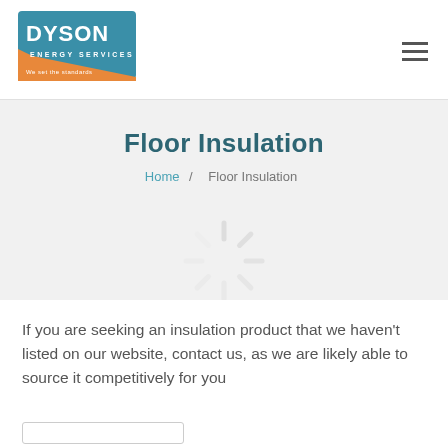[Figure (logo): Dyson Energy Services logo with blue and orange design and tagline 'We set the standards']
Floor Insulation
Home / Floor Insulation
[Figure (other): Faint loading spinner / snowflake watermark graphic in the hero banner]
If you are seeking an insulation product that we haven't listed on our website, contact us, as we are likely able to source it competitively for you